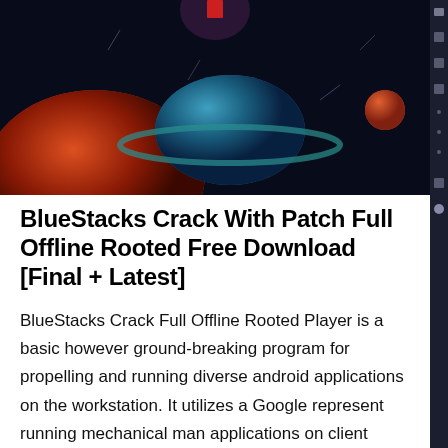[Figure (screenshot): Dark space-themed screenshot showing BlueStacks Android emulator interface with planets/spheres in red, blue, and orange colors against a dark background. A red notification icon is visible at the top center, and emulator control icons are on the right sidebar.]
BlueStacks Crack With Patch Full Offline Rooted Free Download [Final + Latest]
BlueStacks Crack Full Offline Rooted Player is a basic however ground-breaking program for propelling and running diverse android applications on the workstation. It utilizes a Google represent running mechanical man applications on client Microsoft window working framework gizmo with no hassle. With this application, the client will undoubtedly any android application, for